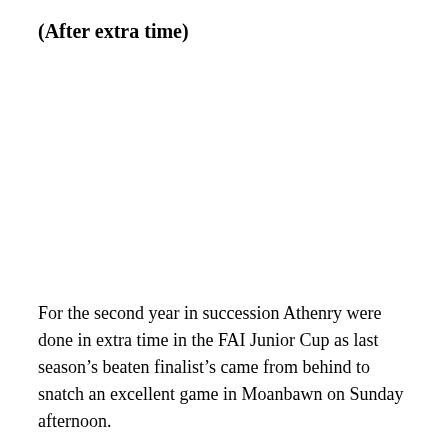(After extra time)
For the second year in succession Athenry were done in extra time in the FAI Junior Cup as last season’s beaten finalist’s came from behind to snatch an excellent game in Moanbawn on Sunday afternoon.